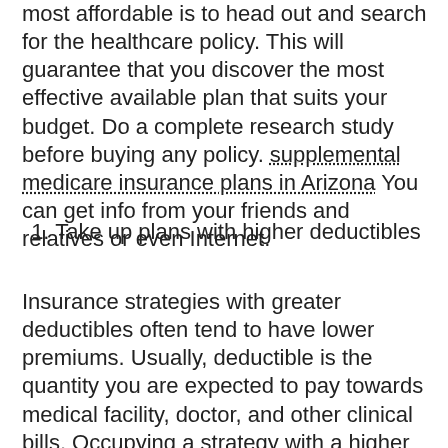most affordable is to head out and search for the healthcare policy. This will guarantee that you discover the most effective available plan that suits your budget. Do a complete research study before buying any policy. supplemental medicare insurance plans in Arizona You can get info from your friends and relatives or even Internet.
1. Take up plans with higher deductibles
Insurance strategies with greater deductibles often tend to have lower premiums. Usually, deductible is the quantity you are expected to pay towards medical facility, doctor, and other clinical bills. Occupying a strategy with a higher deductible might not be a globally relevant idea. If you're normally healthy as well as do not fall ill very regularly, after